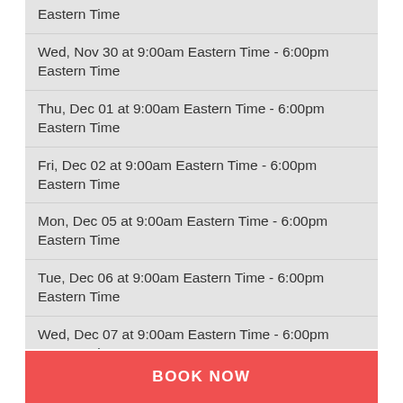Eastern Time
Wed, Nov 30 at 9:00am Eastern Time - 6:00pm Eastern Time
Thu, Dec 01 at 9:00am Eastern Time - 6:00pm Eastern Time
Fri, Dec 02 at 9:00am Eastern Time - 6:00pm Eastern Time
Mon, Dec 05 at 9:00am Eastern Time - 6:00pm Eastern Time
Tue, Dec 06 at 9:00am Eastern Time - 6:00pm Eastern Time
Wed, Dec 07 at 9:00am Eastern Time - 6:00pm Eastern Time
Thu, Dec 08 at 9:00am Eastern Time - 6:00pm Eastern Time
Fri, Dec 09 at 9:00am Eastern Time - 6:00pm Eastern Time
Mon, Dec 12 at 9:00am Eastern Time - 6:00pm
BOOK NOW